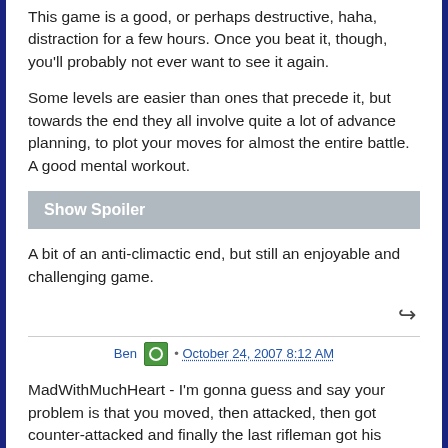This game is a good, or perhaps destructive, haha, distraction for a few hours. Once you beat it, though, you'll probably not ever want to see it again.
Some levels are easier than ones that precede it, but towards the end they all involve quite a lot of advance planning, to plot your moves for almost the entire battle. A good mental workout.
Show Spoiler
A bit of an anti-climactic end, but still an enjoyable and challenging game.
Ben · October 24, 2007 8:12 AM
MadWithMuchHeart - I'm gonna guess and say your problem is that you moved, then attacked, then got counter-attacked and finally the last rifleman got his proper turn, where he kills you.